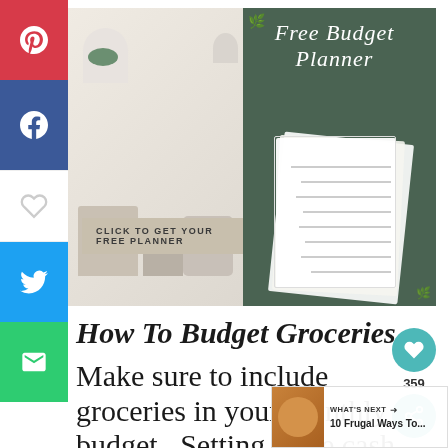[Figure (other): Free Budget Planner promotional banner with text 'Free Budget Planner', 'CLICK TO GET YOUR FREE PLANNER' button, and decorative images of budget planner printables on a sage green background]
How To Budget Groceries
Make sure to include groceries in your monthly budget.  Setting aside cash in your cash envelope system for food